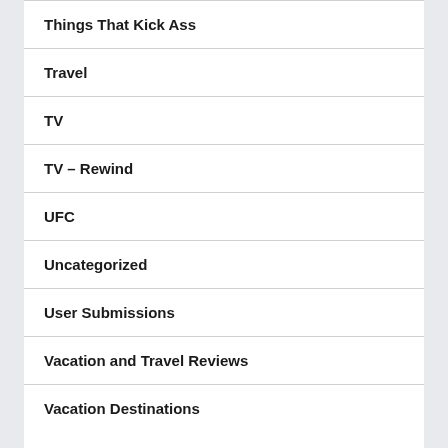Things That Kick Ass
Travel
TV
TV – Rewind
UFC
Uncategorized
User Submissions
Vacation and Travel Reviews
Vacation Destinations